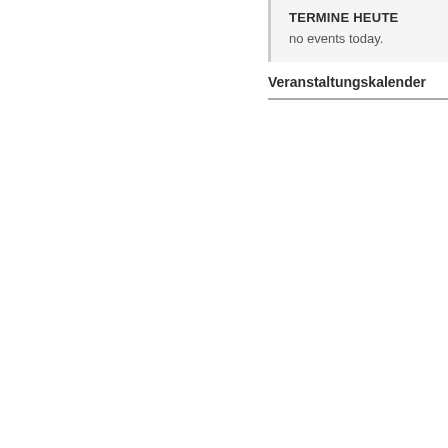TERMINE HEUTE
no events today.
Veranstaltungskalender